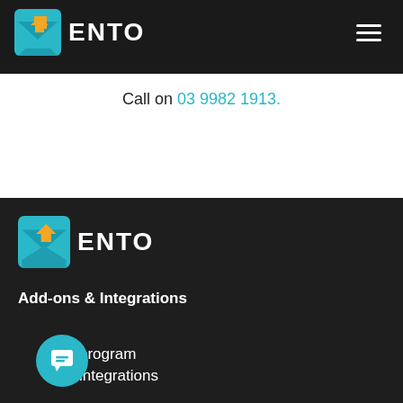ENTO
Call on 03 9982 1913.
[Figure (logo): Ento logo with teal envelope icon and bold white uppercase text ENTO on dark background]
Add-ons & Integrations
program integrations